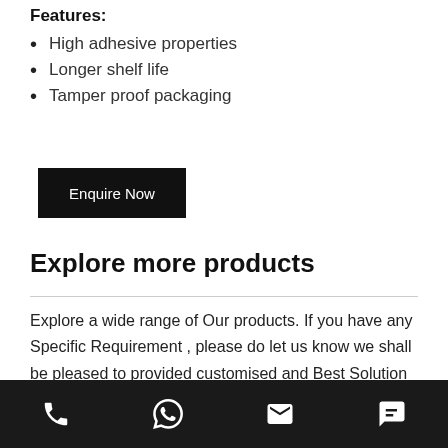Features:
High adhesive properties
Longer shelf life
Tamper proof packaging
[Figure (other): Black rectangular button with white text 'Enquire Now']
Explore more products
Explore a wide range of Our products. If you have any Specific Requirement , please do let us know we shall be pleased to provided customised and Best Solution at most Reasonable prices.
Phone, WhatsApp, Email, Chat icons